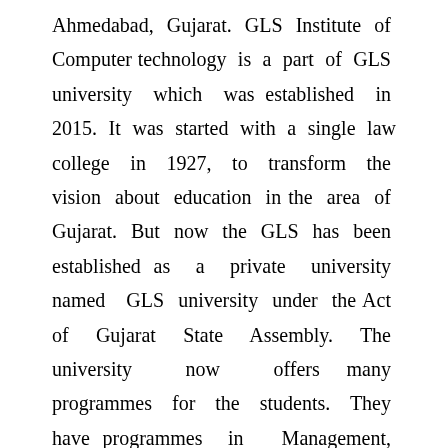Ahmedabad, Gujarat. GLS Institute of Computer technology is a part of GLS university which was established in 2015. It was started with a single law college in 1927, to transform the vision about education in the area of Gujarat. But now the GLS has been established as a private university named  GLS university under the Act of Gujarat State Assembly. The university now offers many programmes for the students. They have programmes in  Management, Information Technology, Communications,  Social  Sciences,  Commerce,  etc. Besides the existing programmes B.Com., M.Com., BBA, MBA, BCA, MCA and B.Ed through various institutions. They also have professional programmes such as Human Resource Management, Banking & Insurance, CA, CS, Professional Accounting, Export Management, Personality